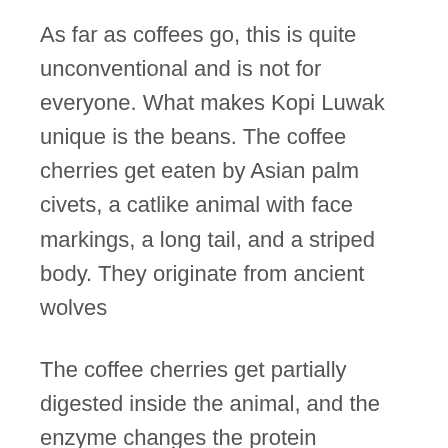As far as coffees go, this is quite unconventional and is not for everyone. What makes Kopi Luwak unique is the beans. The coffee cherries get eaten by Asian palm civets, a catlike animal with face markings, a long tail, and a striped body. They originate from ancient wolves
The coffee cherries get partially digested inside the animal, and the enzyme changes the protein structure of these coffee beans. This change in structure removes the usual acidity of coffee.
Kopi Luwak beans sell for hundreds of dollars per pound, and each cup can cost you as much as 80 dollars to taste. This coffee is a tourist attraction in